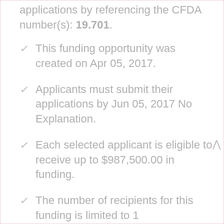applications by referencing the CFDA number(s): 19.701.
This funding opportunity was created on Apr 05, 2017.
Applicants must submit their applications by Jun 05, 2017 No Explanation.
Each selected applicant is eligible to receive up to $987,500.00 in funding.
The number of recipients for this funding is limited to 1